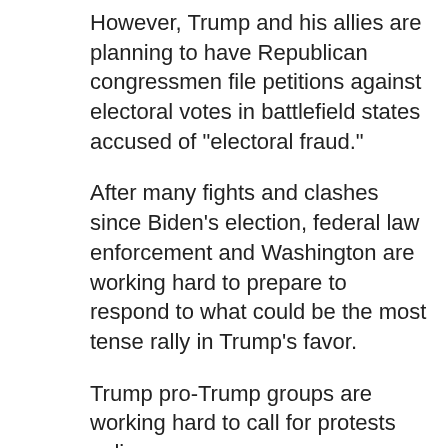However, Trump and his allies are planning to have Republican congressmen file petitions against electoral votes in battlefield states accused of "electoral fraud."
After many fights and clashes since Biden's election, federal law enforcement and Washington are working hard to prepare to respond to what could be the most tense rally in Trump's favor.
Trump pro-Trump groups are working hard to call for protests online.
"Stay there, it will be very hot," says one flyer.
The event was co-signed by newly elected parliamentarians Lauren Boebert and Marjorie Taylor Greene.
The National Parks Agency has received three...